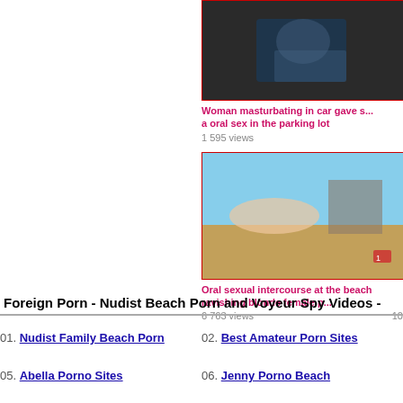[Figure (photo): Video thumbnail showing a car scene]
Woman masturbating in car gave s... a oral sex in the parking lot
1 595 views
[Figure (photo): Video thumbnail showing a beach scene with a blonde woman]
Oral sexual intercourse at the beach ravishing blonde female p...
6 763 views
Foreign Porn - Nudist Beach Porn and Voyeur Spy Videos -
01. Nudist Family Beach Porn
02. Best Amateur Porn Sites
05. Abella Porno Sites
06. Jenny Porno Beach